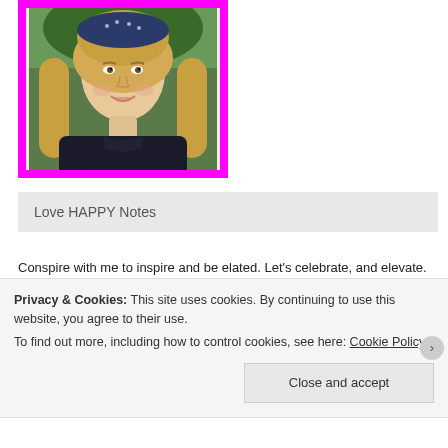[Figure (photo): Portrait photo of a young blonde woman wearing a dark blue patterned headband/beanie and dark jacket, framed with a thick magenta/pink border on a cream background]
Love HAPPY Notes
Conspire with me to inspire and be elated. Let's celebrate, and elevate. Be funny and communicate.
Become a relaxation affirmation transformation sensation, worthy of a standing ovation!
...
Privacy & Cookies: This site uses cookies. By continuing to use this website, you agree to their use.
To find out more, including how to control cookies, see here: Cookie Policy
Close and accept